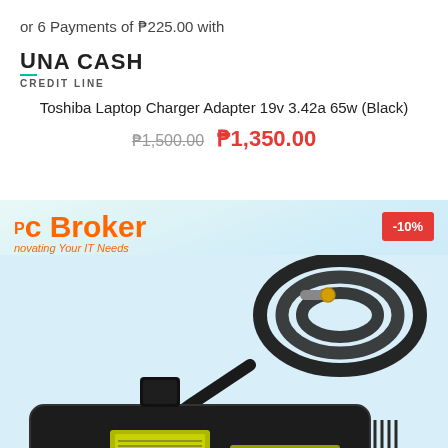or 6 Payments of ₱225.00 with
[Figure (logo): UNA CASH CREDIT LINE logo with teal underline under U]
Toshiba Laptop Charger Adapter 19v 3.42a 65w (Black)
₱1,500.00  ₱1,350.00
[Figure (photo): Product photo of Toshiba laptop charger adapter (black) with PC Broker logo and -10% discount badge overlay. Shows black cable coiled around black power brick adapter with yellow label.]